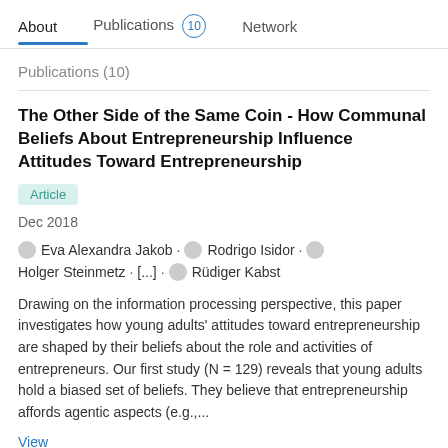About   Publications 10   Network
Publications (10)
The Other Side of the Same Coin - How Communal Beliefs About Entrepreneurship Influence Attitudes Toward Entrepreneurship
Article
Dec 2018
Eva Alexandra Jakob · Rodrigo Isidor · Holger Steinmetz · [...] · Rüdiger Kabst
Drawing on the information processing perspective, this paper investigates how young adults' attitudes toward entrepreneurship are shaped by their beliefs about the role and activities of entrepreneurs. Our first study (N = 129) reveals that young adults hold a biased set of beliefs. They believe that entrepreneurship affords agentic aspects (e.g.,...
View